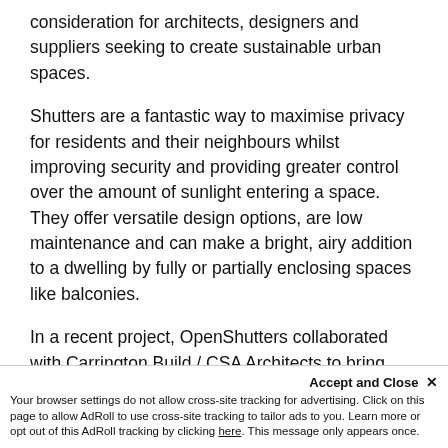consideration for architects, designers and suppliers seeking to create sustainable urban spaces.
Shutters are a fantastic way to maximise privacy for residents and their neighbours whilst improving security and providing greater control over the amount of sunlight entering a space. They offer versatile design options, are low maintenance and can make a bright, airy addition to a dwelling by fully or partially enclosing spaces like balconies.
In a recent project, OpenShutters collaborated with Carrington Build / CSA Architects to bring renewed life to a balcony space that not only elevated the overall aesthetic of the property and maximised access to natural light but also increased safety profile and ensured that the stringent De...
Accept and Close ×
Your browser settings do not allow cross-site tracking for advertising. Click on this page to allow AdRoll to use cross-site tracking to tailor ads to you. Learn more or opt out of this AdRoll tracking by clicking here. This message only appears once.